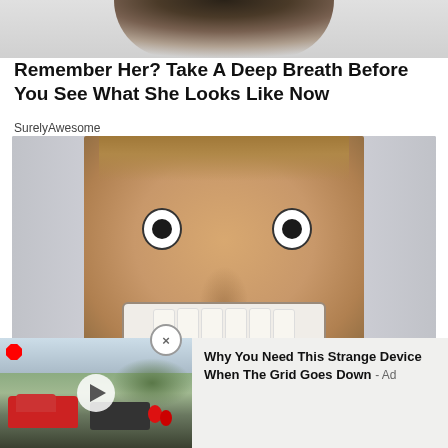[Figure (photo): Partial view of a person's head/hair cropped at top]
Remember Her? Take A Deep Breath Before You See What She Looks Like Now
SurelyAwesome
[Figure (photo): Close-up photo of a man's face with wide eyes and big grin pressed close to camera, doors visible in background]
[Figure (photo): Ad thumbnail: outdoor parking lot scene with cars and people, play button overlay]
Why You Need This Strange Device When The Grid Goes Down - Ad